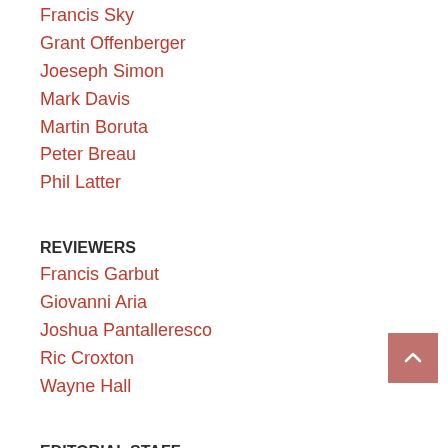Francis Sky
Grant Offenberger
Joeseph Simon
Mark Davis
Martin Boruta
Peter Breau
Phil Latter
REVIEWERS
Francis Garbut
Giovanni Aria
Joshua Pantalleresco
Ric Croxton
Wayne Hall
EDITORIAL STAFF
Matthew Szewczyk ♦ MANAGING EDITOR
Richard Vasseur ♦ BUREAU CHIEF CANADA
Rik Offenberger ♦ EDITOR-IN-CHIEF